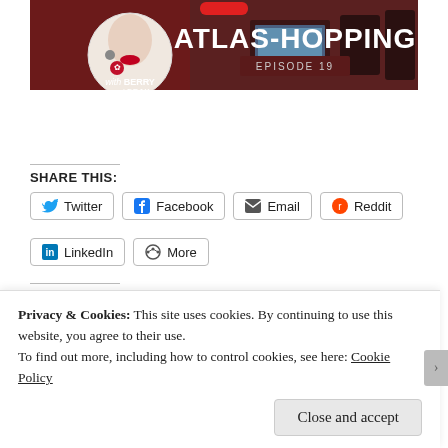[Figure (screenshot): Atlas-Hopping podcast banner with Berry and Drax, Episode 19]
SHARE THIS:
Twitter
Facebook
Email
Reddit
LinkedIn
More
LIKE THIS:
Privacy & Cookies: This site uses cookies. By continuing to use this website, you agree to their use.
To find out more, including how to control cookies, see here: Cookie Policy
Close and accept